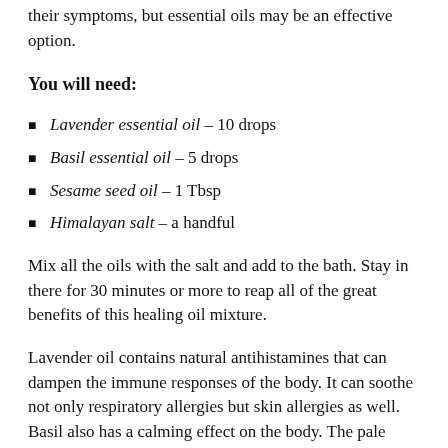their symptoms, but essential oils may be an effective option.
You will need:
Lavender essential oil – 10 drops
Basil essential oil – 5 drops
Sesame seed oil – 1 Tbsp
Himalayan salt – a handful
Mix all the oils with the salt and add to the bath. Stay in there for 30 minutes or more to reap all of the great benefits of this healing oil mixture.
Lavender oil contains natural antihistamines that can dampen the immune responses of the body. It can soothe not only respiratory allergies but skin allergies as well. Basil also has a calming effect on the body. The pale pink/grey colored Himalayan salt is full of beneficial minerals that aid detoxification.